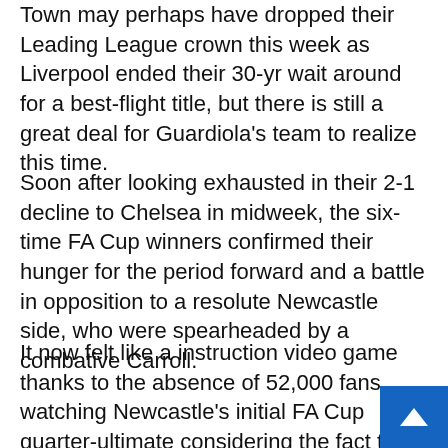Town may perhaps have dropped their Leading League crown this week as Liverpool ended their 30-yr wait around for a best-flight title, but there is still a great deal for Guardiola's team to realize this time.
Soon after looking exhausted in their 2-1 decline to Chelsea in midweek, the six-time FA Cup winners confirmed their hunger for the period forward and a battle in opposition to a resolute Newcastle side, who were spearheaded by a combative Carroll.
It now felt like a instruction video game thanks to the absence of 52,000 fans watching Newcastle's initial FA Cup quarter-ultimate considering the fact that 2006, but Newcastle's formation minimiz the to start with fifty percent to a match of attack and furthermore Metropolis look the